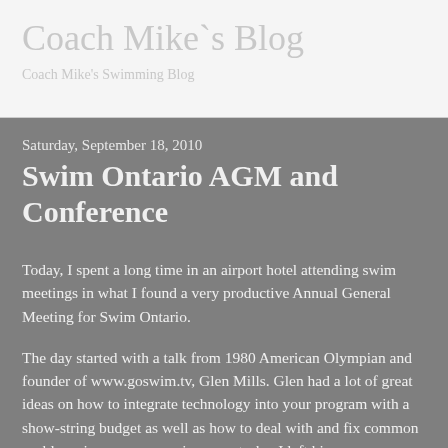Coach Mike`s Blog
Coach Mike's Swimming Blog
Saturday, September 18, 2010
Swim Ontario AGM and Conference
Today, I spent a long time in an airport hotel attending swim meetings in what I found a very productive Annual General Meeting for Swim Ontario.
The day started with a talk from 1980 American Olympian and founder of www.goswim.tv, Glen Mills. Glen had a lot of great ideas on how to integrate technology into your program with a show-string budget as well as how to deal with and fix common problems in age group swimmers stroke. I left his